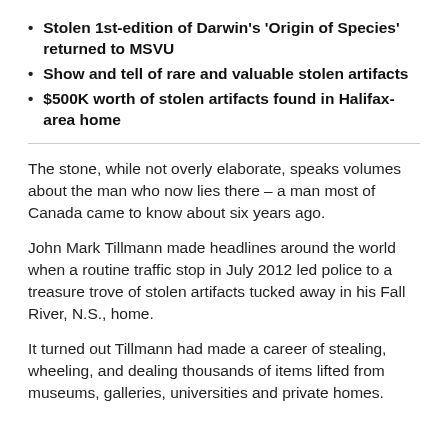Stolen 1st-edition of Darwin's 'Origin of Species' returned to MSVU
Show and tell of rare and valuable stolen artifacts
$500K worth of stolen artifacts found in Halifax-area home
The stone, while not overly elaborate, speaks volumes about the man who now lies there – a man most of Canada came to know about six years ago.
John Mark Tillmann made headlines around the world when a routine traffic stop in July 2012 led police to a treasure trove of stolen artifacts tucked away in his Fall River, N.S., home.
It turned out Tillmann had made a career of stealing, wheeling, and dealing thousands of items lifted from museums, galleries, universities and private homes.